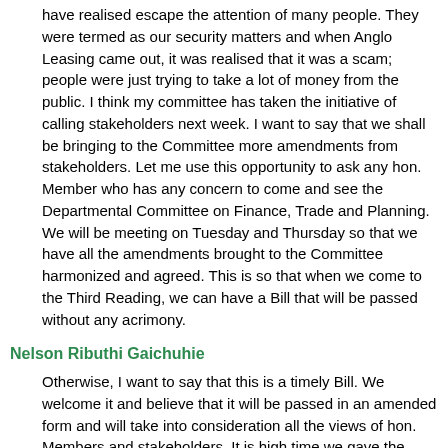have realised escape the attention of many people. They were termed as our security matters and when Anglo Leasing came out, it was realised that it was a scam; people were just trying to take a lot of money from the public. I think my committee has taken the initiative of calling stakeholders next week. I want to say that we shall be bringing to the Committee more amendments from stakeholders. Let me use this opportunity to ask any hon. Member who has any concern to come and see the Departmental Committee on Finance, Trade and Planning. We will be meeting on Tuesday and Thursday so that we have all the amendments brought to the Committee harmonized and agreed. This is so that when we come to the Third Reading, we can have a Bill that will be passed without any acrimony.
Nelson Ributhi Gaichuhie
Otherwise, I want to say that this is a timely Bill. We welcome it and believe that it will be passed in an amended form and will take into consideration all the views of hon. Members and stakeholders. It is high time we gave the Auditor-General powers to fight corruption, because he will be independent. I believe he will be an independent officer. We also want to say that we think the Auditor-General is creating a fund, which is okay, to enable him function. We also want to believe that the Auditor-General